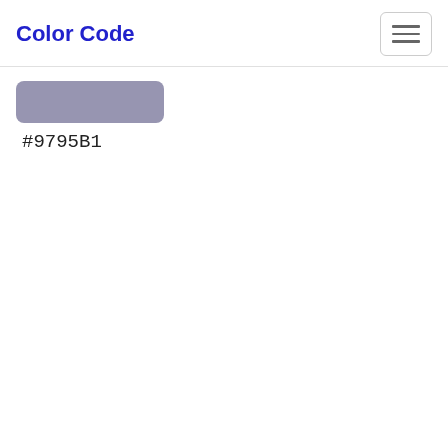Color Code
[Figure (other): A rectangular color swatch filled with color #9795B1 (a muted blue-purple/lavender gray), with rounded corners.]
#9795B1